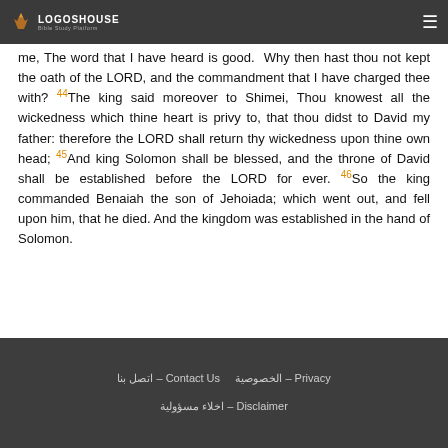LOGOSHOUSE Bible Study Platform
me, The word that I have heard is good. Why then hast thou not kept the oath of the LORD, and the commandment that I have charged thee with? 44The king said moreover to Shimei, Thou knowest all the wickedness which thine heart is privy to, that thou didst to David my father: therefore the LORD shall return thy wickedness upon thine own head; 45And king Solomon shall be blessed, and the throne of David shall be established before the LORD for ever. 46So the king commanded Benaiah the son of Jehoiada; which went out, and fell upon him, that he died. And the kingdom was established in the hand of Solomon.
اتصل بنا – Contact Us   الخصوصية – Privacy   اخلاء مسؤولية – Disclaimer